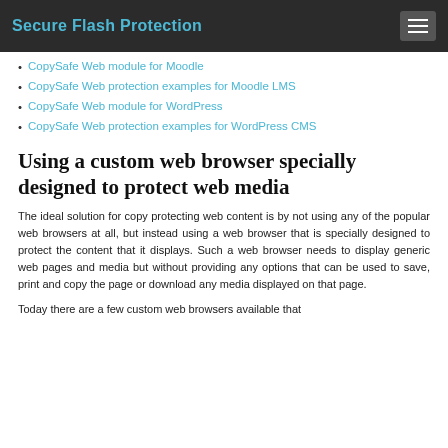Secure Flash Protection
CopySafe Web module for Moodle
CopySafe Web protection examples for Moodle LMS
CopySafe Web module for WordPress
CopySafe Web protection examples for WordPress CMS
Using a custom web browser specially designed to protect web media
The ideal solution for copy protecting web content is by not using any of the popular web browsers at all, but instead using a web browser that is specially designed to protect the content that it displays. Such a web browser needs to display generic web pages and media but without providing any options that can be used to save, print and copy the page or download any media displayed on that page.
Today there are a few custom web browsers available that